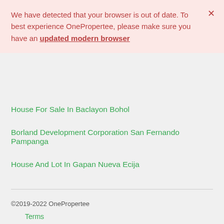We have detected that your browser is out of date. To best experience OnePropertee, please make sure you have an updated modern browser
House For Sale In Baclayon Bohol
Borland Development Corporation San Fernando Pampanga
House And Lot In Gapan Nueva Ecija
©2019-2022 OnePropertee
Terms
Privacy
1.53.25-20220831-0856